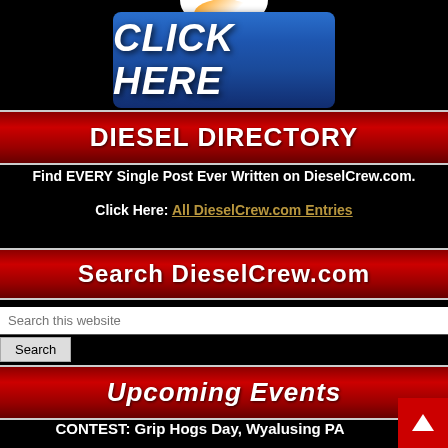[Figure (illustration): Blue button with CLICK HERE text and a logo/icon at the top]
DIESEL DIRECTORY
Find EVERY Single Post Ever Written on DieselCrew.com.
Click Here: All DieselCrew.com Entries
Search DieselCrew.com
Search this website
Search
Upcoming Events
CONTEST: Grip Hogs Day, Wyalusing PA
[Figure (illustration): Back to top red button with white arrow pointing up]